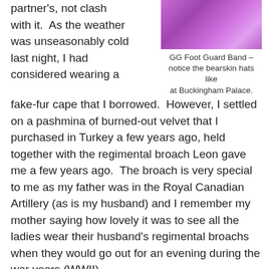partner's, not clash with it.  As the weather was unseasonably cold last night, I had considered wearing a
[Figure (photo): Photo of GG Foot Guard Band members wearing bearskin hats, under purple/violet lighting]
GG Foot Guard Band – notice the bearskin hats like at Buckingham Palace.
fake-fur cape that I borrowed.  However, I settled on a pashmina of burned-out velvet that I purchased in Turkey a few years ago, held together with the regimental broach Leon gave me a few years ago.  The broach is very special to me as my father was in the Royal Canadian Artillery (as is my husband) and I remember my mother saying how lovely it was to see all the ladies wear their husband's regimental broachs when they would go out for an evening during the war years (WWII).